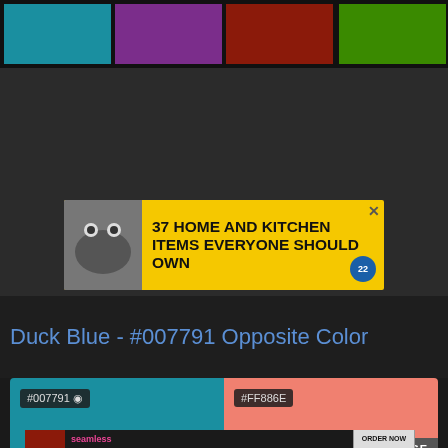[Figure (screenshot): Color bar with four colored rectangles: teal, purple, dark red, green on black background]
[Figure (screenshot): Advertisement banner: '37 HOME AND KITCHEN ITEMS EVERYONE SHOULD OWN' on yellow background with food image and badge]
Duck Blue - #007791 Opposite Color
[Figure (screenshot): Color comparison showing #007791 (teal/duck blue) on the left and #FF886E (salmon) on the right with CLOSE button]
[Figure (screenshot): Seamless food delivery advertisement with pizza image, seamless logo, and ORDER NOW button]